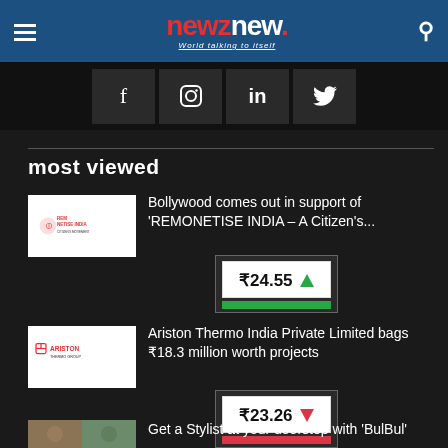newznew — World talking to itself
[Figure (other): Social media icons: Facebook, Instagram, LinkedIn, Twitter]
most viewed
[Figure (other): Remonetise India logo thumbnail]
Bollywood comes out in support of 'REMONETISE INDIA – A Citizen's...
[Figure (other): Stock ticker widget showing ₹24.55 with green up arrow]
[Figure (other): Ariston Thermo Group logo thumbnail]
Ariston Thermo India Private Limited bags ₹18.3 million worth projects
[Figure (other): Stock ticker widget showing ₹23.26 with red down arrow]
[Figure (photo): Thumbnail image for BulBul article]
Get a Stylist at your doorstep with 'BulBul'